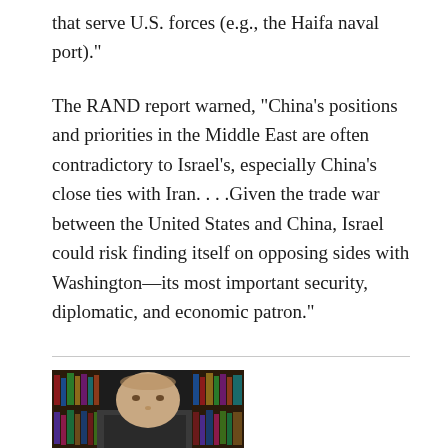that serve U.S. forces (e.g., the Haifa naval port).”
The RAND report warned, “China’s positions and priorities in the Middle East are often contradictory to Israel’s, especially China’s close ties with Iran. . . .Given the trade war between the United States and China, Israel could risk finding itself on opposing sides with Washington—its most important security, diplomatic, and economic patron.”
[Figure (photo): Headshot photo of a man, partially visible, with bookshelves in the background]